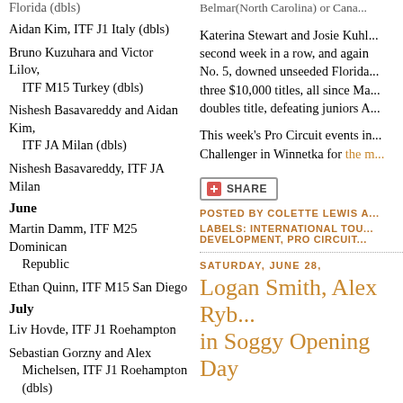Florida (dbls)
Aidan Kim, ITF J1 Italy (dbls)
Bruno Kuzuhara and Victor Lilov, ITF M15 Turkey (dbls)
Nishesh Basavareddy and Aidan Kim, ITF JA Milan (dbls)
Nishesh Basavareddy, ITF JA Milan
June
Martin Damm, ITF M25 Dominican Republic
Ethan Quinn, ITF M15 San Diego
July
Liv Hovde, ITF J1 Roehampton
Sebastian Gorzny and Alex Michelsen, ITF J1 Roehampton (dbls)
Katrina Scott, ITF W25 Columbus
Ethan Quinn, ITF M15 Los Angeles (dbls)
Belmar (North Carolina) or Cana...
Katerina Stewart and Josie Kuhl... second week in a row, and again No. 5, downed unseeded Florida... three $10,000 titles, all since Ma... doubles title, defeating juniors A...
This week's Pro Circuit events in... Challenger in Winnetka for the m...
SHARE
POSTED BY COLETTE LEWIS A...
LABELS: INTERNATIONAL TOU... DEVELOPMENT, PRO CIRCUIT...
SATURDAY, JUNE 28,
Logan Smith, Alex Ryb... in Soggy Opening Day